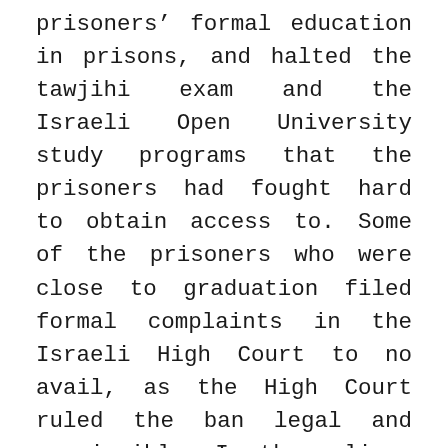prisoners' formal education in prisons, and halted the tawjihi exam and the Israeli Open University study programs that the prisoners had fought hard to obtain access to. Some of the prisoners who were close to graduation filed formal complaints in the Israeli High Court to no avail, as the High Court ruled the ban legal and permissible. In the ruling, the High Court stressed that the prisoners' education is a privilege that can be withdrawn at the discretion of the IPS. It is worth noting, however, that while Netanyahu's speech was a public announcement of the crackdown on prisoners' rights, the IPS had already